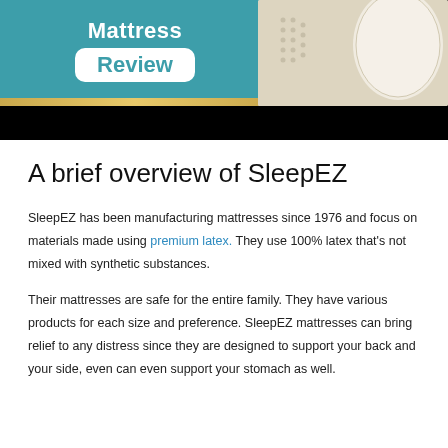[Figure (illustration): Mattress Review banner image with teal background showing 'Mattress Review' text on the left, a gold bar accent, and a white mattress/pillow image on the right, with a black bar below.]
A brief overview of SleepEZ
SleepEZ has been manufacturing mattresses since 1976 and focus on materials made using premium latex. They use 100% latex that's not mixed with synthetic substances.
Their mattresses are safe for the entire family. They have various products for each size and preference. SleepEZ mattresses can bring relief to any distress since they are designed to support your back and your side, even can even support your stomach as well.